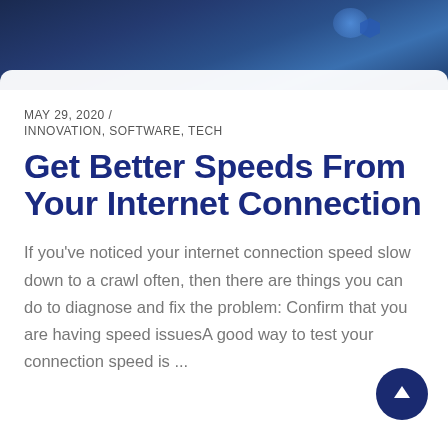[Figure (photo): Partial photo of person holding a tablet/device, dark blue tones, partially cropped at top of page]
MAY 29, 2020 /
INNOVATION, SOFTWARE, TECH
Get Better Speeds From Your Internet Connection
If you've noticed your internet connection speed slow down to a crawl often, then there are things you can do to diagnose and fix the problem: Confirm that you are having speed issuesA good way to test your connection speed is ...